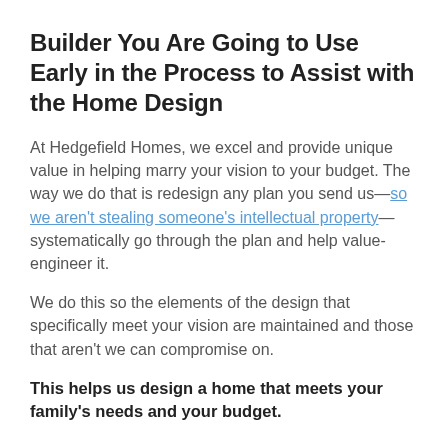Builder You Are Going to Use Early in the Process to Assist with the Home Design
At Hedgefield Homes, we excel and provide unique value in helping marry your vision to your budget. The way we do that is redesign any plan you send us—so we aren't stealing someone's intellectual property—systematically go through the plan and help value-engineer it.
We do this so the elements of the design that specifically meet your vision are maintained and those that aren't we can compromise on.
This helps us design a home that meets your family's needs and your budget.